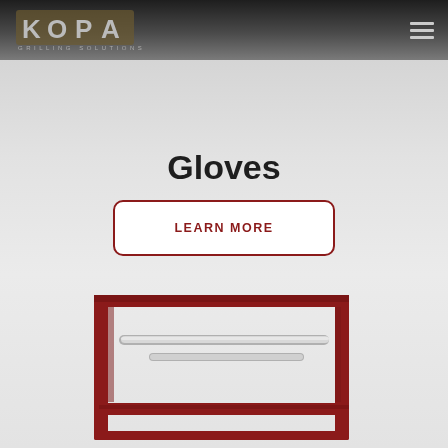[Figure (logo): KOPA Grilling Solutions logo with stylized block letters on dark gradient header bar]
Gloves
LEARN MORE
[Figure (photo): Red metal grill stand/cart with chrome handles and lower shelf, partially visible at bottom of page]